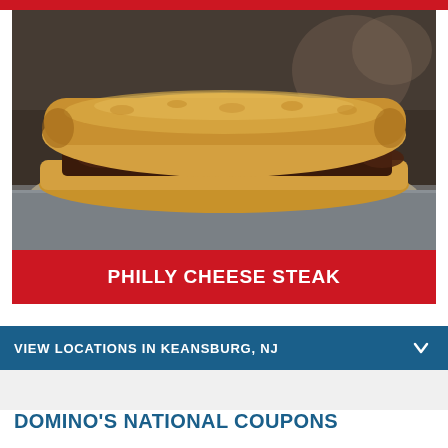[Figure (photo): Photo of a Philly Cheese Steak sandwich on parchment paper on a metal surface, showing shredded steak, green peppers, onions, and cheese on a toasted hoagie roll]
PHILLY CHEESE STEAK
VIEW LOCATIONS IN KEANSBURG, NJ
DOMINO'S NATIONAL COUPONS